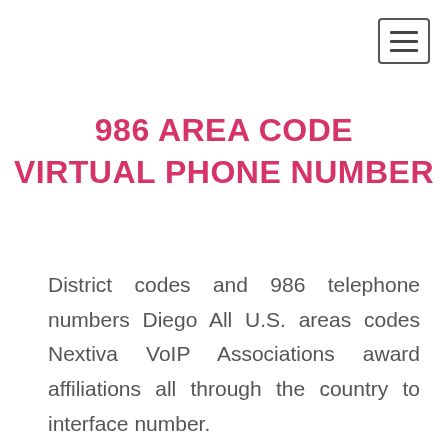[Figure (other): Hamburger menu button icon (three horizontal lines) inside a rectangular border, positioned in top-right corner]
986 AREA CODE VIRTUAL PHONE NUMBER
District codes and 986 telephone numbers Diego All U.S. areas codes Nextiva VoIP Associations award affiliations all through the country to interface number.